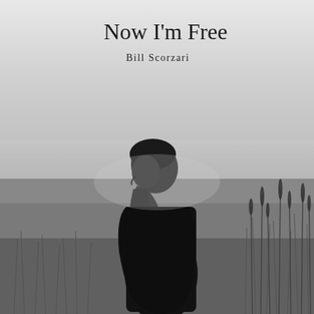[Figure (photo): Black and white photograph of a bearded man standing in a field with tall grasses, facing slightly left in profile. A misty body of water and flat horizon visible in the background. The man has a very long beard and wears dark clothing. The overall mood is contemplative and atmospheric.]
Now I'm Free
Bill Scorzari